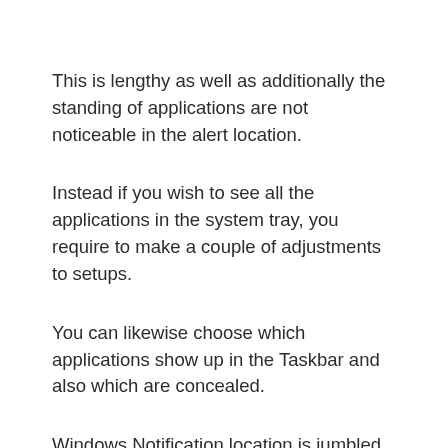This is lengthy as well as additionally the standing of applications are not noticeable in the alert location.
Instead if you wish to see all the applications in the system tray, you require to make a couple of adjustments to setups.
You can likewise choose which applications show up in the Taskbar and also which are concealed.
Windows Notification location is jumbled with Chrome, Edge, Word and also several others.